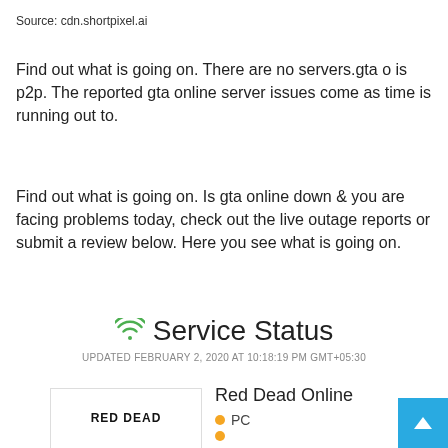Source: cdn.shortpixel.ai
Find out what is going on. There are no servers.gta o is p2p. The reported gta online server issues come as time is running out to.
Find out what is going on. Is gta online down & you are facing problems today, check out the live outage reports or submit a review below. Here you see what is going on.
[Figure (infographic): Service Status section with wifi icon, title 'Service Status', and update timestamp 'UPDATED FEBRUARY 2, 2020 AT 10:18:19 PM GMT+05:30']
[Figure (screenshot): Red Dead Online service status card showing game logo image box with 'RED DEAD' text, title 'Red Dead Online', and status indicators including PC with orange dot.]